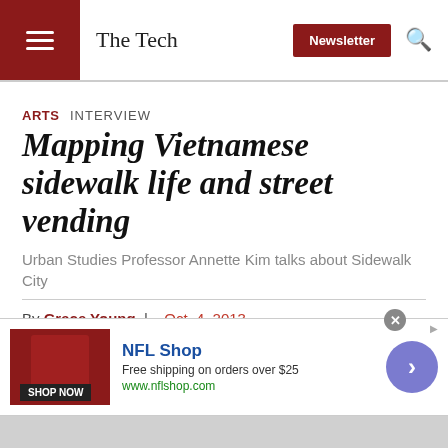The Tech
ARTS   INTERVIEW
Mapping Vietnamese sidewalk life and street vending
Urban Studies Professor Annette Kim talks about Sidewalk City
By Grace Young | Oct. 4, 2013
[Figure (infographic): Social sharing icons: Facebook, Twitter, Reddit, Email, Print]
[Figure (infographic): NFL Shop advertisement with football jersey image, 'Free shipping on orders over $25', www.nflshop.com, SHOP NOW button, and navigation arrow]